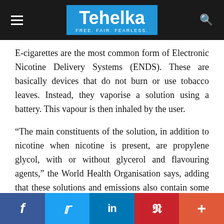Tehelka — FREE. FAIR. FEARLESS.
E-cigarettes are the most common form of Electronic Nicotine Delivery Systems (ENDS). These are basically devices that do not burn or use tobacco leaves. Instead, they vaporise a solution using a battery. This vapour is then inhaled by the user.
“The main constituents of the solution, in addition to nicotine when nicotine is present, are propylene glycol, with or without glycerol and flavouring agents,” the World Health Organisation says, adding that these solutions and emissions also contain some solutions that are considered to be “toxicants”.
Facebook | Twitter | LinkedIn | Pinterest | More